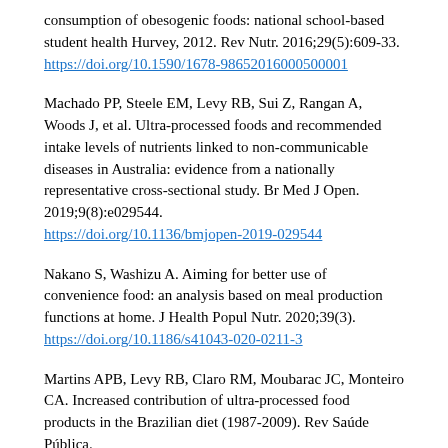consumption of obesogenic foods: national school-based student health Hurvey, 2012. Rev Nutr. 2016;29(5):609-33. https://doi.org/10.1590/1678-98652016000500001
Machado PP, Steele EM, Levy RB, Sui Z, Rangan A, Woods J, et al. Ultra-processed foods and recommended intake levels of nutrients linked to non-communicable diseases in Australia: evidence from a nationally representative cross-sectional study. Br Med J Open. 2019;9(8):e029544. https://doi.org/10.1136/bmjopen-2019-029544
Nakano S, Washizu A. Aiming for better use of convenience food: an analysis based on meal production functions at home. J Health Popul Nutr. 2020;39(3). https://doi.org/10.1186/s41043-020-0211-3
Martins APB, Levy RB, Claro RM, Moubarac JC, Monteiro CA. Increased contribution of ultra-processed food products in the Brazilian diet (1987-2009). Rev Saúde Pública.